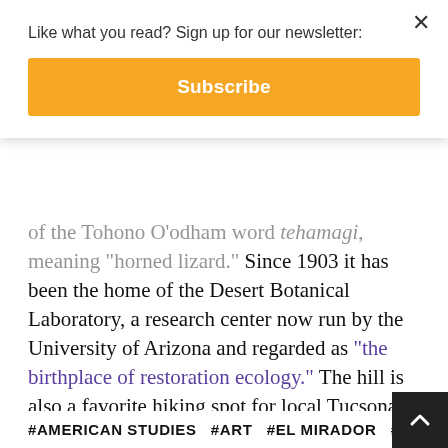Like what you read? Sign up for our newsletter:
Subscribe
of the Tohono O'odham word tehamagi, meaning "horned lizard." Since 1903 it has been the home of the Desert Botanical Laboratory, a research center now run by the University of Arizona and regarded as “the birthplace of restoration ecology.” The hill is also a favorite hiking spot for local Tucsonans of all ages and backgrounds. “The top of Tumamoc is my favorite spot in Tucson,” says Martin, “especially the view from the old observatory at the end of the trail.” Sketching the plant life along this trail is what led Martin to conceive of the idea for “Arizona Cactus.” The saguaros depicted above can all be found growing on the slopes of Tumamoc.
#AMERICAN STUDIES  #ART  #EL MIRADOR  #LANDSCAPE